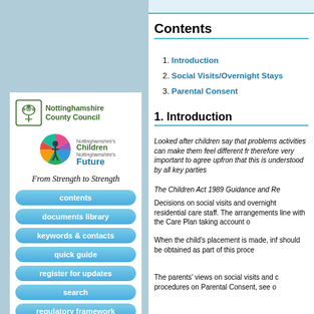[Figure (logo): Nottinghamshire County Council logo with tree icon and green text]
[Figure (logo): Nottinghamshire's Children Future circular colorful logo]
From Strength to Strength
contents
documents library
keywords & contacts
quick guide
register for updates
search
regulatory framework
Contents
1. Introduction
2. Social Visits/Overnight Stays
3. Parental Consent
1. Introduction
Looked after children say that problems activities can make them feel different fr therefore very important to agree upfron that this is understood by all key parties
The Children Act 1989 Guidance and Re
Decisions on social visits and overnight residential care staff. The arrangements line with the Care Plan taking account o
When the child's placement is made, inf should be obtained as part of this proce
The parents' views on social visits and c procedures on Parental Consent, see o